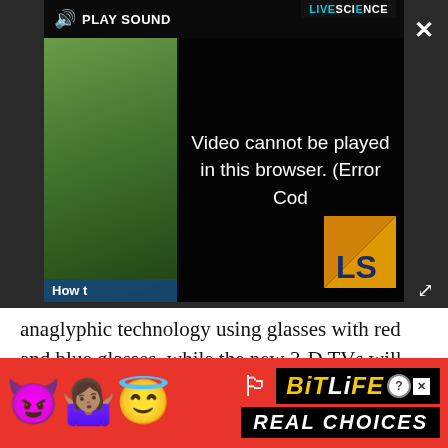[Figure (screenshot): Video player overlay showing error message 'Video cannot be played in this browser. (Error Cod' with sound icon, PLAY SOUND text, LiveScience badge, green thumbnail with 'How t' label, LS logo, close X button, and resize icon]
anaglyphic technology using glasses with red and blue glasses, while the new 3-D TVs will use more sophisticated technology for better displays.
The new 3-D technology can be passive or active. Roberts likes both. He explained that the passive technology uses the same glasses you would get in the movie theater, and that more of the technology for passive is built into the TV set. Active technology uses shuttered glasses, which have a battery in them.
[Figure (screenshot): Advertisement banner for BitLife app with emoji icons (devil, person, angel), sperm icon, BitLife logo in yellow/white italic text, help and close icons, and 'REAL CHOICES' text on black background, set on red background]